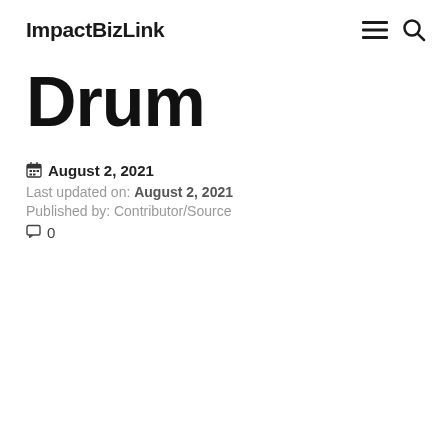ImpactBizLink
Drum
August 2, 2021
Last updated on: August 2, 2021
Published by: Contributor/Source
0